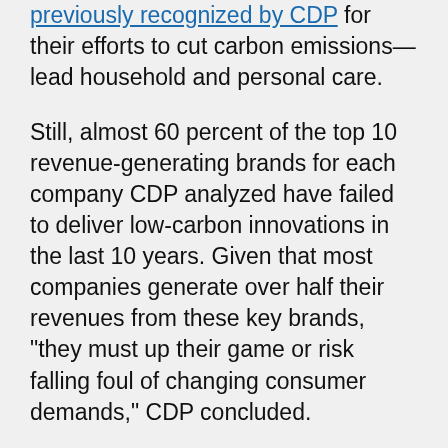previously recognized by CDP for their efforts to cut carbon emissions—lead household and personal care.
Still, almost 60 percent of the top 10 revenue-generating brands for each company CDP analyzed have failed to deliver low-carbon innovations in the last 10 years. Given that most companies generate over half their revenues from these key brands, "they must up their game or risk falling foul of changing consumer demands," CDP concluded.
"As consumer-facing brands, at risk not just from climate change but water scarcity and deforestation